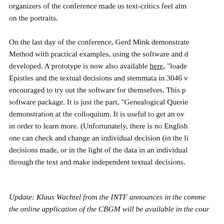organizers of the conference made us text-critics feel alm on the portraits.
On the last day of the conference, Gerd Mink demonstrate Method with practical examples, using the software and d developed. A prototype is now also available here, "loade Epistles and the textual decisions and stemmata in 3046 v encouraged to try out the software for themselves. This p software package. It is just the part, "Genealogical Querie demonstration at the colloquium. It is useful to get an ov in order to learn more. (Unfortunately, there is no English one can check and change an individual decision (in the li decisions made, or in the light of the data in an individual through the text and make independent textual decisions.
Update: Klaus Wachtel from the INTF announces in the comme the online application of the CBGM will be available in the cour